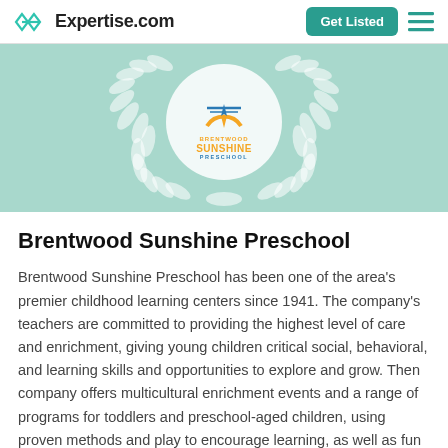Expertise.com — Get Listed
[Figure (logo): Brentwood Sunshine Preschool logo inside a laurel wreath badge on a teal/mint background]
Brentwood Sunshine Preschool
Brentwood Sunshine Preschool has been one of the area's premier childhood learning centers since 1941. The company's teachers are committed to providing the highest level of care and enrichment, giving young children critical social, behavioral, and learning skills and opportunities to explore and grow. Then company offers multicultural enrichment events and a range of programs for toddlers and preschool-aged children, using proven methods and play to encourage learning, as well as fun summer camps full or science, literature, art, and sports